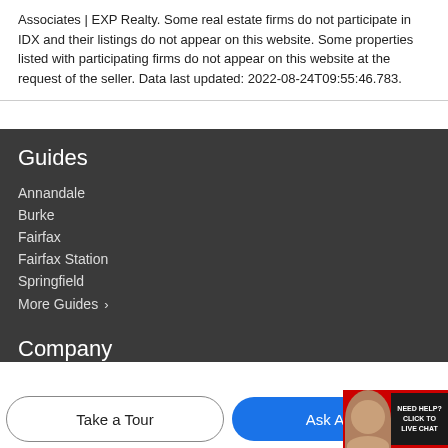Associates | EXP Realty. Some real estate firms do not participate in IDX and their listings do not appear on this website. Some properties listed with participating firms do not appear on this website at the request of the seller. Data last updated: 2022-08-24T09:55:46.783.
Guides
Annandale
Burke
Fairfax
Fairfax Station
Springfield
More Guides ›
Company
Take a Tour
Ask A Q...
[Figure (screenshot): Live chat widget with agent avatar and 'NEED HELP? CLICK TO LIVE CHAT' button]